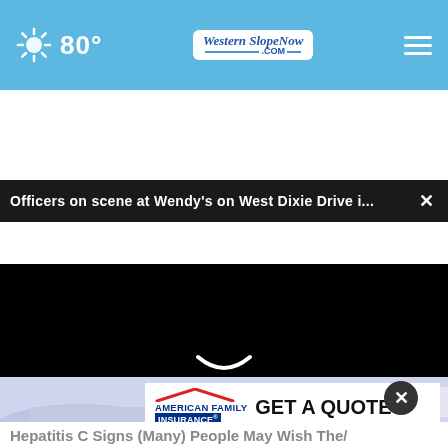80°  Western Slope Now .com
Officers on scene at Wendy's on West Dixie Drive i...  ×
[Figure (screenshot): Black video player area with a faint smile/play icon in the center, progress bar at bottom with a white dot, video controls bar with play button, mute icon, timestamp 00:00, and fullscreen icon]
[Figure (infographic): American Family Insurance advertisement banner with logo and 'GET A QUOTE' text, partially overlaid on a light blue/purple illustrated background]
Hepatitis C Signs (Many) People May Wish The/